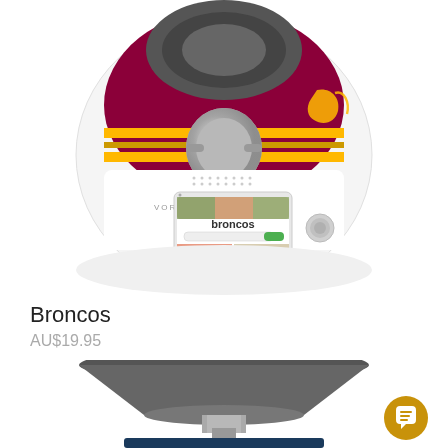[Figure (photo): Top-down view of a Thermomix kitchen appliance with a maroon, gold and yellow Brisbane Broncos NRL team skin/wrap applied to the top surface, showing the mixing bowl and a digital screen displaying 'broncos' text and food images. Vorwerk branding visible.]
Broncos
AU$19.95
[Figure (photo): Bottom/underside view of a Thermomix kitchen appliance showing the dark grey mixing bowl from below, the silver pedestal/stand, and a partial view of what appears to be a dark blue base or mat.]
[Figure (other): Gold circular chat/message button icon with white speech bubble symbol, positioned bottom-right corner.]